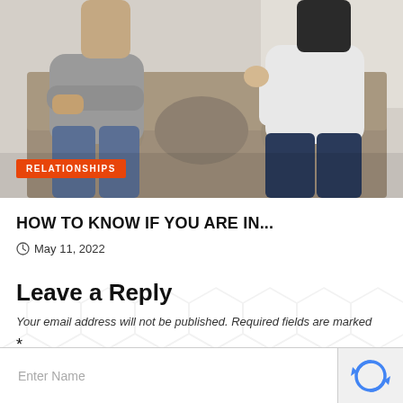[Figure (photo): Two people sitting on a couch appearing to be in conflict or tense discussion. One person in grey t-shirt with arms crossed, another in white sweater. A grey pillow is visible between them.]
RELATIONSHIPS
HOW TO KNOW IF YOU ARE IN...
May 11, 2022
Leave a Reply
Your email address will not be published. Required fields are marked
*
Enter Name